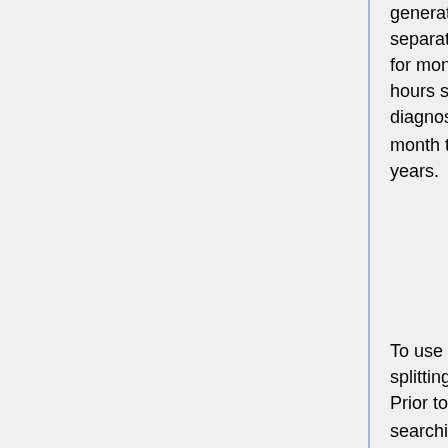generate monthly diagnostics by submitting month-long simulations as separate jobs. Splitting up the simulation into separate jobs is a requirement for monthly diagnostics because MAPL History requires a fixed number of hours set for diagnostic frequency and file duration. The monthly mean diagnostic option automatically updates HISTORY.rc diagnostic settings each month to reflect the number of days in that month taking into account leap years.
To use the monthly diagnostics option, first read and follow instructions for splitting a simulation into multiple jobs (see separate section on this page). Prior to submitting your run, enable monthly diagnostics in runConfig.sh by searching for variable "Monthly_Diag"